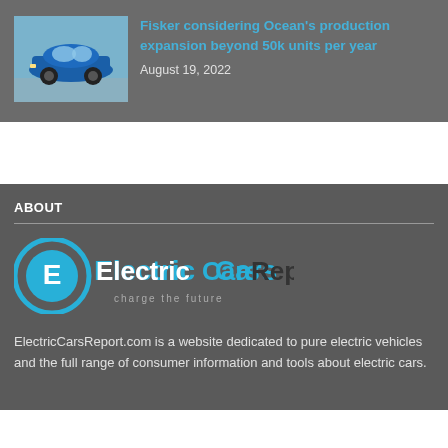[Figure (photo): Small thumbnail photo of a blue Fisker Ocean electric SUV]
Fisker considering Ocean's production expansion beyond 50k units per year
August 19, 2022
ABOUT
[Figure (logo): ElectricCarsReport logo with circular E icon and tagline 'charge the future']
ElectricCarsReport.com is a website dedicated to pure electric vehicles and the full range of consumer information and tools about electric cars.